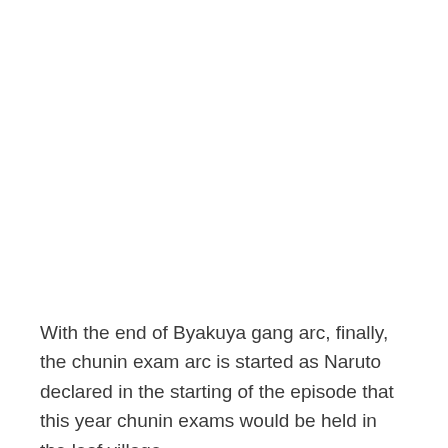With the end of Byakuya gang arc, finally, the chunin exam arc is started as Naruto declared in the starting of the episode that this year chunin exams would be held in the leaf village.